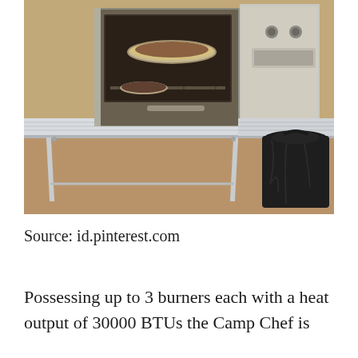[Figure (photo): A camp chef oven/stove sitting on an aluminum folding table outdoors. The oven is open, showing a pie in a foil pan inside. A black trash bag is visible to the right of the table. The setting appears to be a campsite with dirt ground visible.]
Source: id.pinterest.com
Possessing up to 3 burners each with a heat output of 30000 BTUs the Camp Chef is